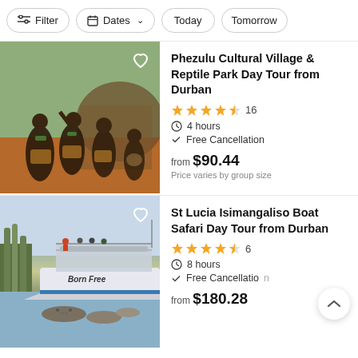Filter  Dates  Today  Tomorrow
[Figure (photo): African cultural dancers performing in traditional attire at Phezulu Cultural Village]
Phezulu Cultural Village & Reptile Park Day Tour from Durban
★★★★☆ 16
⏱ 4 hours
✓ Free Cancellation
from $90.44
Price varies by group size
[Figure (photo): Boat named 'Born Free' on a river with hippos visible in the water - St Lucia Isimangaliso]
St Lucia Isimangaliso Boat Safari Day Tour from Durban
★★★★☆ 6
⏱ 8 hours
✓ Free Cancellation
from $180.28